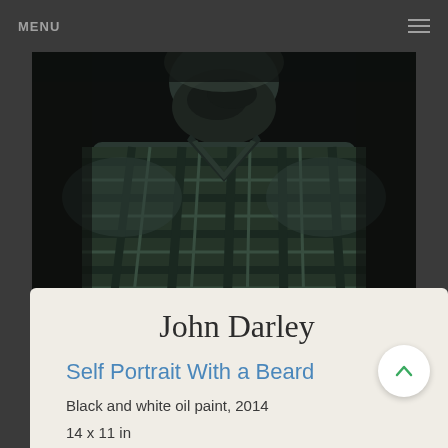MENU
[Figure (photo): A dark, moody black and white oil painting of a man with a beard wearing a plaid shirt, cropped from shoulders up, shown from a slightly low angle against a dark background.]
John Darley
Self Portrait With a Beard
Black and white oil paint, 2014
14 x 11 in